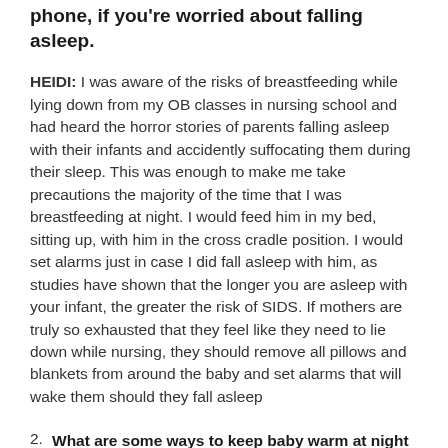phone, if you're worried about falling asleep.
HEIDI: I was aware of the risks of breastfeeding while lying down from my OB classes in nursing school and had heard the horror stories of parents falling asleep with their infants and accidently suffocating them during their sleep. This was enough to make me take precautions the majority of the time that I was breastfeeding at night. I would feed him in my bed, sitting up, with him in the cross cradle position. I would set alarms just in case I did fall asleep with him, as studies have shown that the longer you are asleep with your infant, the greater the risk of SIDS. If mothers are truly so exhausted that they feel like they need to lie down while nursing, they should remove all pillows and blankets from around the baby and set alarms that will wake them should they fall asleep
2. What are some ways to keep baby warm at night without using blankets?